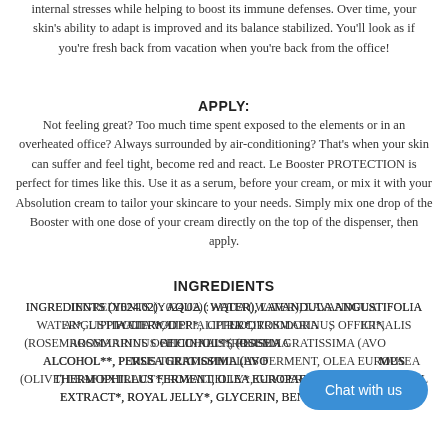internal stresses while helping to boost its immune defenses. Over time, your skin's ability to adapt is improved and its balance stabilized. You'll look as if you're fresh back from vacation when you're back from the office!
APPLY:
Not feeling great? Too much time spent exposed to the elements or in an overheated office? Always surrounded by air-conditioning? That's when your skin can suffer and feel tight, become red and react. Le Booster PROTECTION is perfect for times like this. Use it as a serum, before your cream, or mix it with your Absolution cream to tailor your skincare to your needs. Simply mix one drop of the Booster with one dose of your cream directly on the top of the dispenser, then apply.
INGREDIENTS
INGREDIENTS (Y024.02) : AQUA ( WATER), LAVANDULA ANGUSTIFOLIA WATER*, LIPPIA CITRIODORA WATER*, ROSMARINUS OFFICINALIS (ROSEMARY) LEAF WATER*, ALCOHOL**, PERSEA GRATISSIMA (AVOCADO) OIL, STREPTOCOCCUS THERMOPHILLUS FERMENT, OLEA EUROPAEA (OLIVE) LEAF EXTRACT*, ROYAL JELLY*, GLYCERIN, BENZYL ALCOHOL
[Figure (other): Blue rounded chat button with text 'Chat with us']